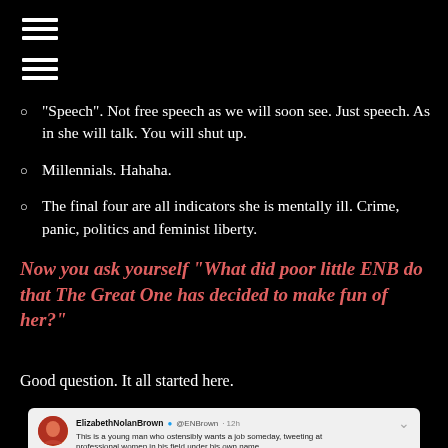“Speech”. Not free speech as we will soon see. Just speech. As in she will talk. You will shut up.
Millennials. Hahaha.
The final four are all indicators she is mentally ill. Crime, panic, politics and feminist liberty.
Now you ask yourself “What did poor little ENB do that The Great One has decided to make fun of her?”
Good question. It all started here.
[Figure (screenshot): Tweet from ElizabethNolanBrown (@ENBrown, 12h ago): 'This is a young man who ostensibly wants a job someday, tweeting at professional women in his field under his own name.']